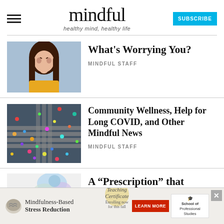mindful — healthy mind, healthy life — SUBSCRIBE
[Figure (photo): Woman biting her nails anxiously, wearing a yellow top, against a blue background]
What's Worrying You?
MINDFUL STAFF
[Figure (photo): Aerial view of a crowded pedestrian crossing with colorful people]
Community Wellness, Help for Long COVID, and Other Mindful News
MINDFUL STAFF
[Figure (illustration): Partial illustration for third article about a prescription]
A “Prescription” that
[Figure (infographic): Advertisement banner: Mindfulness-Based Stress Reduction Teaching Certificate — Enrolling now for this fall — LEARN MORE — School of Professional Studies]